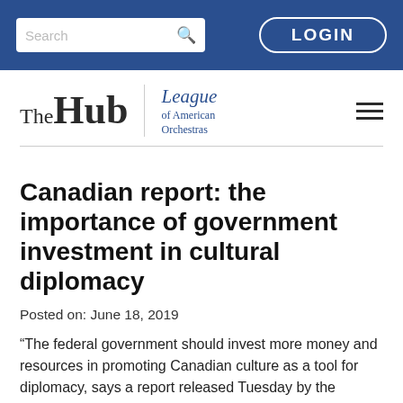Search LOGIN
[Figure (logo): The Hub | League of American Orchestras logo with hamburger menu]
Canadian report: the importance of government investment in cultural diplomacy
Posted on: June 18, 2019
“The federal government should invest more money and resources in promoting Canadian culture as a tool for diplomacy, says a report released Tuesday by the